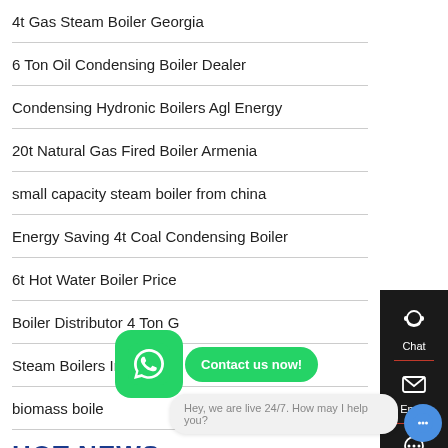4t Gas Steam Boiler Georgia
6 Ton Oil Condensing Boiler Dealer
Condensing Hydronic Boilers Agl Energy
20t Natural Gas Fired Boiler Armenia
small capacity steam boiler from china
Energy Saving 4t Coal Condensing Boiler
6t Hot Water Boiler Price
Boiler Distributor 4 Ton G[eorgia]
Steam Boilers In Egypt
biomass boile[r...]
HOT NEWS
[Figure (screenshot): WhatsApp contact widget with green icon and 'Contact us now!' button]
Hey, we are live 24/7. How may I help you?
[Figure (infographic): Right-side panel with Chat, Email, and scroll-to-top buttons on dark background]